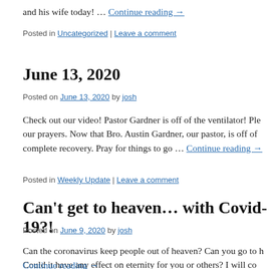and his wife today! … Continue reading →
Posted in Uncategorized | Leave a comment
June 13, 2020
Posted on June 13, 2020 by josh
Check out our video! Pastor Gardner is off of the ventilator! Ple… our prayers. Now that Bro. Austin Gardner, our pastor, is off of … complete recovery. Pray for things to go … Continue reading →
Posted in Weekly Update | Leave a comment
Can't get to heaven… with Covid-19?!
Posted on June 9, 2020 by josh
Can the coronavirus keep people out of heaven? Can you go to h… Could it have any effect on eternity for you or others? I will co… Continue reading →